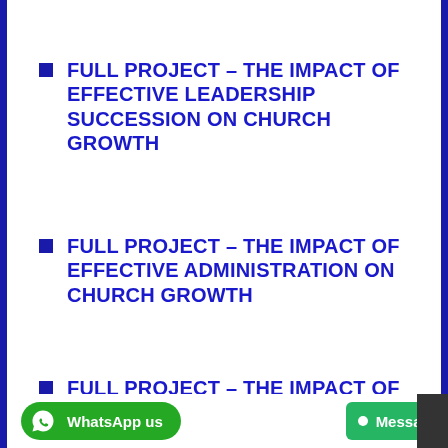FULL PROJECT – THE IMPACT OF EFFECTIVE LEADERSHIP SUCCESSION ON CHURCH GROWTH
FULL PROJECT – THE IMPACT OF EFFECTIVE ADMINISTRATION ON CHURCH GROWTH
FULL PROJECT – THE IMPACT OF CHILDREN EVANGELISM ON CHURCH GROWTH
WhatsApp us   Message